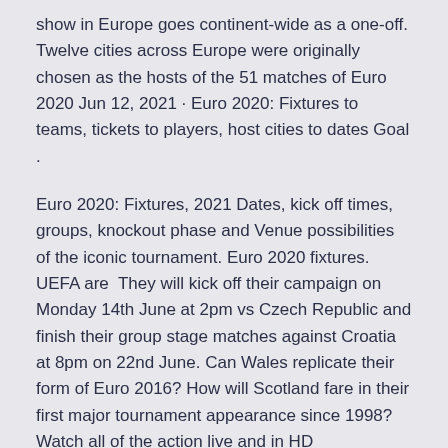show in Europe goes continent-wide as a one-off. Twelve cities across Europe were originally chosen as the hosts of the 51 matches of Euro 2020 Jun 12, 2021 · Euro 2020: Fixtures to teams, tickets to players, host cities to dates Goal .
Euro 2020: Fixtures, 2021 Dates, kick off times, groups, knockout phase and Venue possibilities of the iconic tournament. Euro 2020 fixtures. UEFA are  They will kick off their campaign on Monday 14th June at 2pm vs Czech Republic and finish their group stage matches against Croatia at 8pm on 22nd June. Can Wales replicate their form of Euro 2016? How will Scotland fare in their first major tournament appearance since 1998? Watch all of the action live and in HD